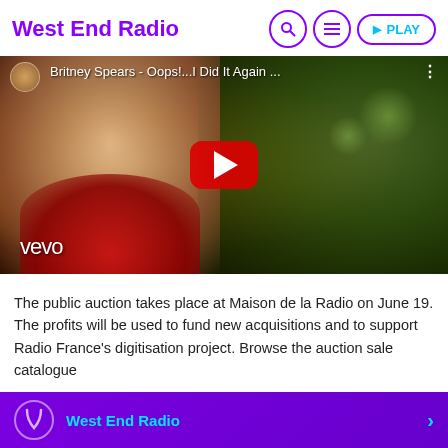West End Radio
[Figure (screenshot): YouTube video thumbnail for 'Britney Spears - Oops!...I Did It Again ...' showing Britney Spears in a red outfit with a vevo watermark and a red YouTube play button in the center]
The public auction takes place at Maison de la Radio on June 19. The profits will be used to fund new acquisitions and to support Radio France's digitisation project. Browse the auction sale catalogue
West End Radio